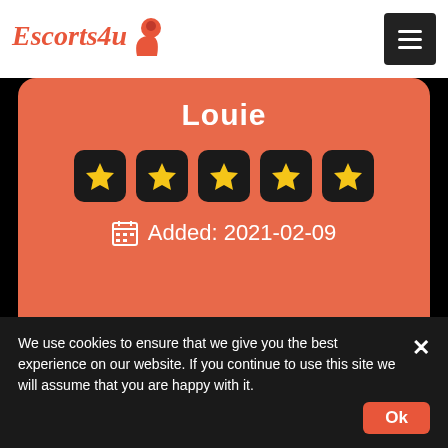Escorts4u [logo]
Louie
[Figure (other): Five star rating boxes with gold stars on dark background]
Added: 2021-02-09
VIEW MORE
We use cookies to ensure that we give you the best experience on our website. If you continue to use this site we will assume that you are happy with it. Ok